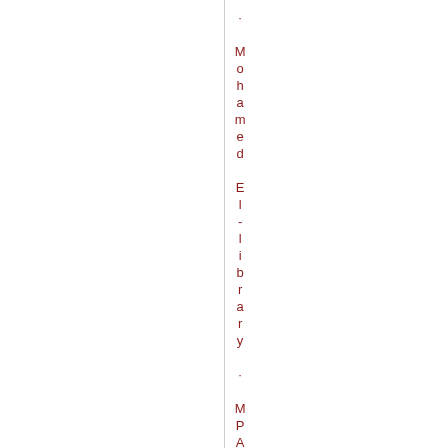· Mohamed El-library · MPAC · Mus